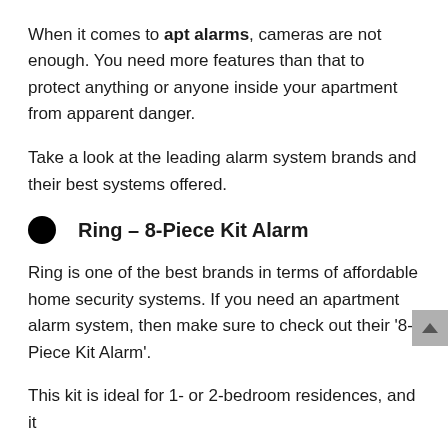When it comes to apt alarms, cameras are not enough. You need more features than that to protect anything or anyone inside your apartment from apparent danger.
Take a look at the leading alarm system brands and their best systems offered.
Ring – 8-Piece Kit Alarm
Ring is one of the best brands in terms of affordable home security systems. If you need an apartment alarm system, then make sure to check out their '8-Piece Kit Alarm'.
This kit is ideal for 1- or 2-bedroom residences, and it